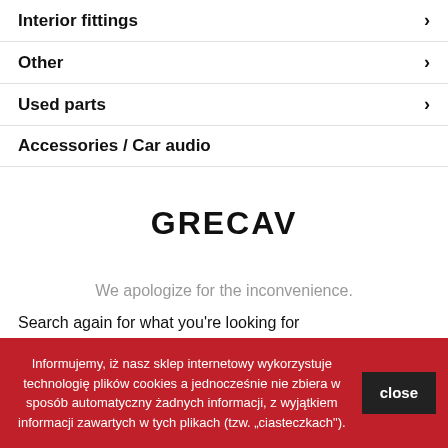Interior fittings ›
Other ›
Used parts ›
Accessories / Car audio
GRECAV
We apologize for the inconvenience.
Search again for what you're looking for
Informujemy, iż nasz sklep internetowy wykorzystuje technologię plików cookies a jednocześnie nie zbiera w sposób automatyczny żadnych informacji, z wyjątkiem informacji zawartych w tych plikach (tzw. „ciasteczkach").